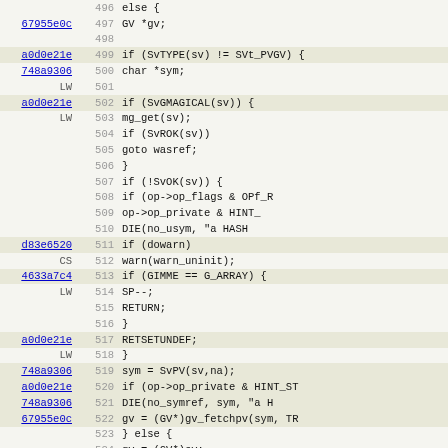[Figure (screenshot): Source code viewer showing C/Perl code lines 496-528 with memory addresses (hyperlinks), line numbers, and code content. Alternating highlighted rows. Code includes conditionals, function calls, and variable assignments related to SvTYPE, GV, hash operations.]